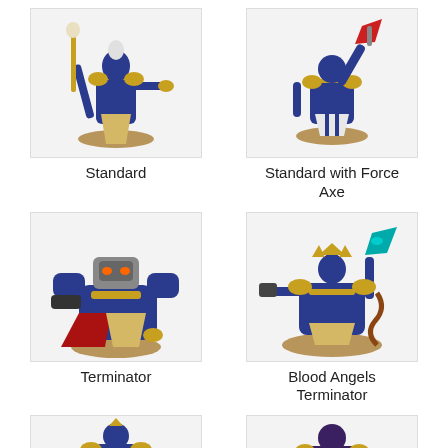[Figure (photo): Standard Space Marine Librarian miniature painted in blue and gold, holding a staff with a skull totem]
Standard
[Figure (photo): Space Marine Librarian miniature with Force Axe raised overhead, painted in blue and gold]
Standard with Force Axe
[Figure (photo): Terminator Space Marine Librarian miniature in heavy blue and gold armor with red cloak]
Terminator
[Figure (photo): Blood Angels Terminator Librarian miniature with teal axe and outstretched arms]
Blood Angels Terminator
[Figure (photo): Partially visible Space Marine miniature at bottom left]
[Figure (photo): Partially visible Space Marine miniature at bottom right]